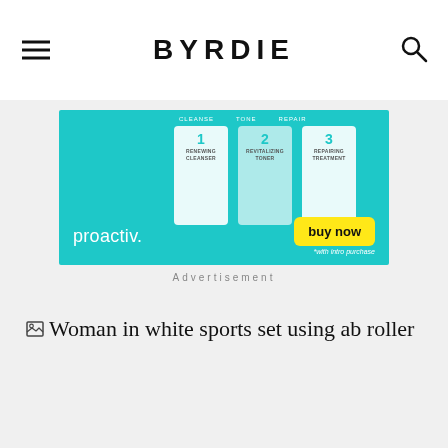BYRDIE
[Figure (photo): Proactiv advertisement banner showing 3 skincare product bottles (Cleanse, Tone, Repair) on teal background with 'proactiv.' branding and 'buy now *with intro purchase' button]
Advertisement
[Figure (photo): Broken image placeholder showing alt text: Woman in white sports set using ab roller]